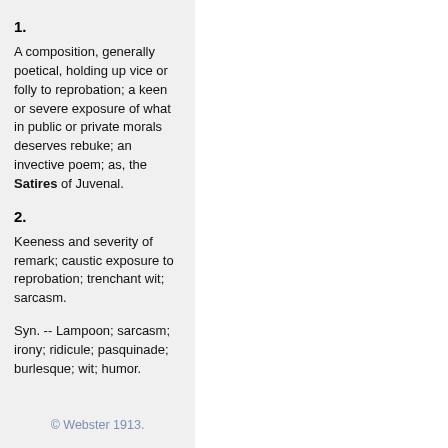1.
A composition, generally poetical, holding up vice or folly to reprobation; a keen or severe exposure of what in public or private morals deserves rebuke; an invective poem; as, the Satires of Juvenal.
2.
Keeness and severity of remark; caustic exposure to reprobation; trenchant wit; sarcasm.
Syn. -- Lampoon; sarcasm; irony; ridicule; pasquinade; burlesque; wit; humor.
© Webster 1913.